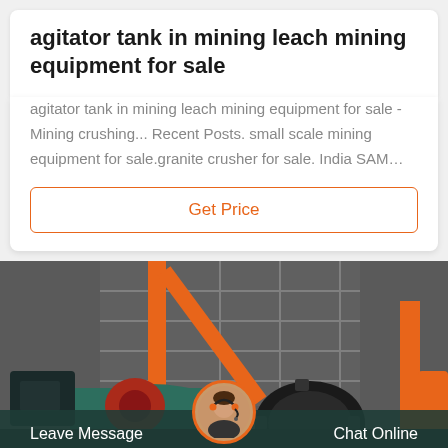agitator tank in mining leach mining equipment for sale
agitator tank in mining leach mining equipment for sale - Mining crushing... Recent Posts. small scale mining equipment for sale.granite crusher for sale. India SAM…
Get Price
[Figure (photo): Industrial mining machinery including ball mills, gears, and large orange structural components inside an industrial facility. A chat support bar is shown at the bottom with 'Leave Message' on the left, a customer service agent avatar in the center, and 'Chat Online' on the right.]